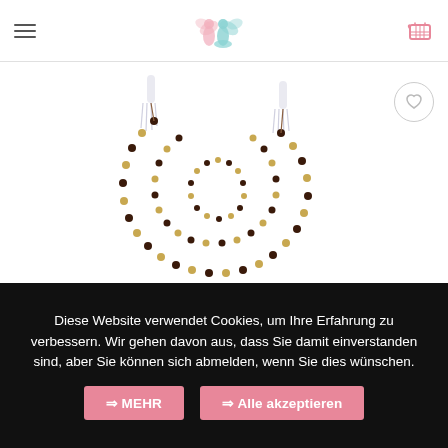Navigation header with hamburger menu, yoga/meditation logo, and cart icon
[Figure (photo): A mala bead necklace with dark brown/black beads interspersed with gold beads, coiled in a spiral with two white tassel ends extending outward, on a white background.]
Diese Website verwendet Cookies, um Ihre Erfahrung zu verbessern. Wir gehen davon aus, dass Sie damit einverstanden sind, aber Sie können sich abmelden, wenn Sie dies wünschen.